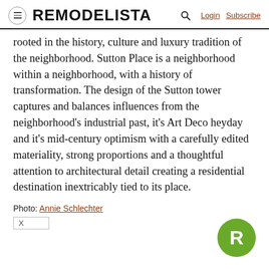REMODELISTA  Login  Subscribe
rooted in the history, culture and luxury tradition of the neighborhood. Sutton Place is a neighborhood within a neighborhood, with a history of transformation. The design of the Sutton tower captures and balances influences from the neighborhood's industrial past, it's Art Deco heyday and it's mid-century optimism with a carefully edited materiality, strong proportions and a thoughtful attention to architectural detail creating a residential destination inextricably tied to its place.
Photo: Annie Schlechter
[Figure (logo): Remodelista green circle logo with white R]